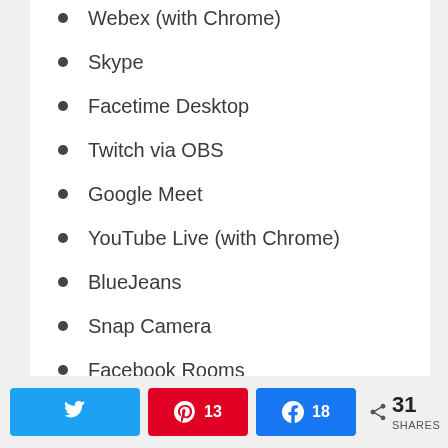Webex (with Chrome)
Skype
Facetime Desktop
Twitch via OBS
Google Meet
YouTube Live (with Chrome)
BlueJeans
Snap Camera
Facebook Rooms
As I said earlier, the above setup is only for MAC users for now. GoPro said that they are working on a solution for Windows users that should be
Twitter share | Pinterest 13 | Facebook 18 | 31 SHARES